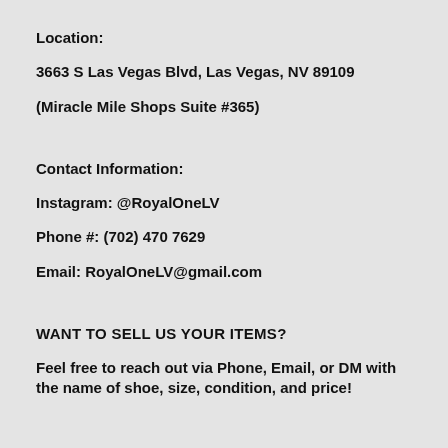Location:
3663 S Las Vegas Blvd, Las Vegas, NV 89109
(Miracle Mile Shops Suite #365)
Contact Information:
Instagram: @RoyalOneLV
Phone #: (702) 470 7629
Email: RoyalOneLV@gmail.com
WANT TO SELL US YOUR ITEMS?
Feel free to reach out via Phone, Email, or DM with the name of shoe, size, condition, and price!